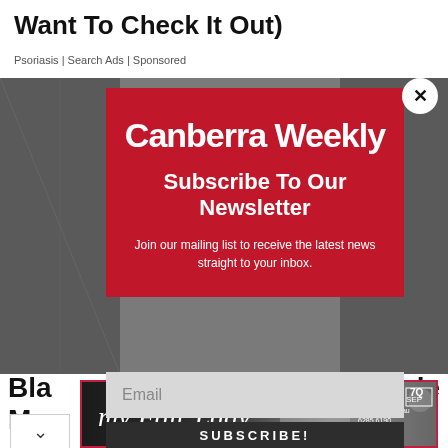Want To Check It Out)
Psoriasis | Search Ads | Sponsored
[Figure (screenshot): Background grayscale image area behind the modal overlay]
[Figure (infographic): Canberra Weekly newsletter subscription modal popup with red background, logo, subscribe heading, description text, email input field, and subscribe button]
Bla
Ma
le
[Figure (infographic): My Fair Lady advertisement banner at the bottom. 30 Aug – 25 Sep, www.theq.net.au, 6285 6290, 7Q logo]